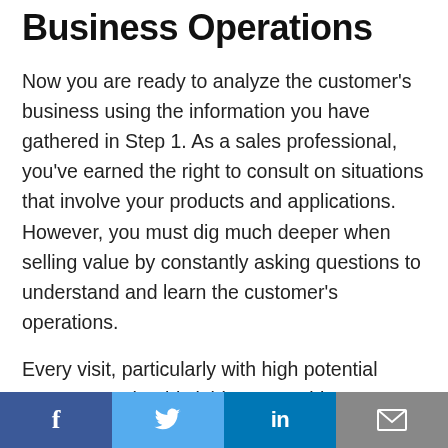Business Operations
Now you are ready to analyze the customer's business using the information you have gathered in Step 1. As a sales professional, you've earned the right to consult on situations that involve your products and applications. However, you must dig much deeper when selling value by constantly asking questions to understand and learn the customer's operations.
Every visit, particularly with high potential customers, should yield more “gold” information about their operations, staffing, and systems. Since you are